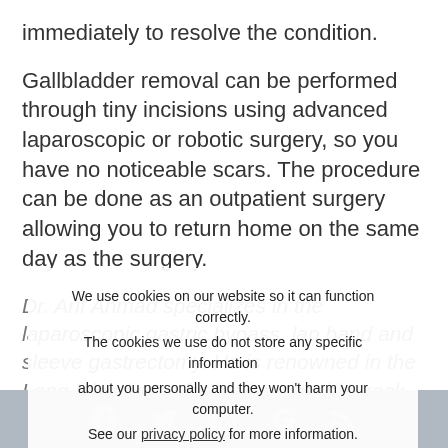immediately to resolve the condition.
Gallbladder removal can be performed through tiny incisions using advanced laparoscopic or robotic surgery, so you have no noticeable scars. The procedure can be done as an outpatient surgery allowing you to return home on the same day as the surgery.
Dr. Arif Ahmad specializes in the laparoscopic gastric bypass, lap band and sleeve gastrectomy. He is renowned in the Long Island area for his impeccable track record of safety and success. Dr. Ahmad conducts patient education sessions every two weeks at Mather Hospital in Port Jefferson and in varying locations across Suffolk County. Please call (631) 689-0220 if you wish to register or have other questions.
We use cookies on our website so it can function correctly. The cookies we use do not store any specific information about you personally and they won't harm your computer. See our privacy policy for more information.
Accept